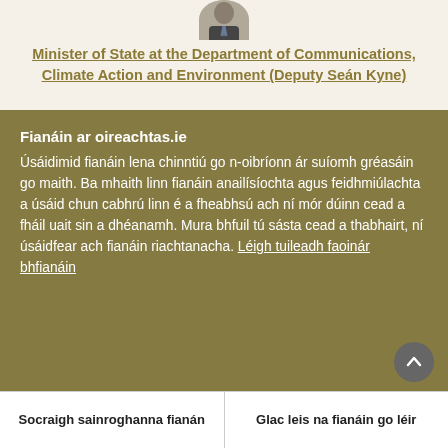[Figure (photo): Portrait photo of Deputy Seán Kyne, partially cropped at top of page]
Minister of State at the Department of Communications, Climate Action and Environment (Deputy Seán Kyne)
Section 28(1) of the Communications Regulation (Postal Services) Act 2011 sets out the principles with which the universal postal service provider's tariffs must comply. These principles are enshrined in
Fianáin ar oireachtas.ie
Úsáidimid fianáin lena chinntiú go n-oibríonn ár suíomh gréasáin go maith. Ba mhaith linn fianáin anailísíochta agus feidhmiúlachta a úsáid chun cabhrú linn é a fheabhsú ach ní mór dúinn cead a fháil uait sin a dhéanamh. Mura bhfuil tú sásta cead a thabhairt, ní úsáidfear ach fianáin riachtanacha. Léigh tuileadh faoinár bhfianáin
Socraigh sainroghanna fianán
Glac leis na fianáin go léir